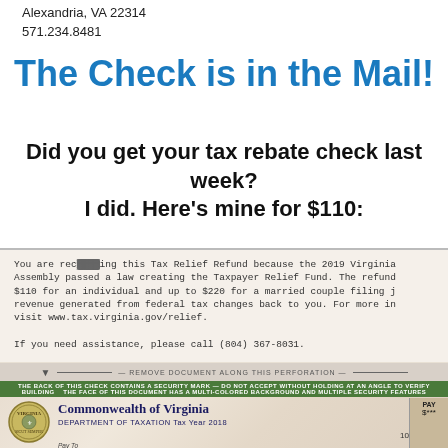Alexandria, VA 22314
571.234.8481
The Check is in the Mail!
Did you get your tax rebate check last week?
I did. Here's mine for $110:
[Figure (photo): Photo of a Virginia Department of Taxation Tax Relief Refund check made out to Mark H Levine, 805 Rivergate Pl, Alexandria VA 22314-1708, dated 10/02/2019, with letter text explaining the refund and a perforation line.]